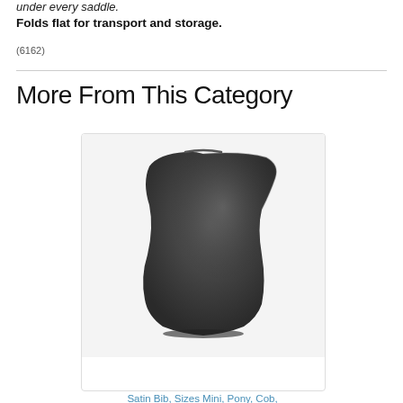under every saddle.
Folds flat for transport and storage.
(6162)
More From This Category
[Figure (photo): A dark charcoal/black satin bib or saddle cover, triangular/hooded shape, folded flat against a white background.]
Satin Bib, Sizes Mini, Pony, Cob,